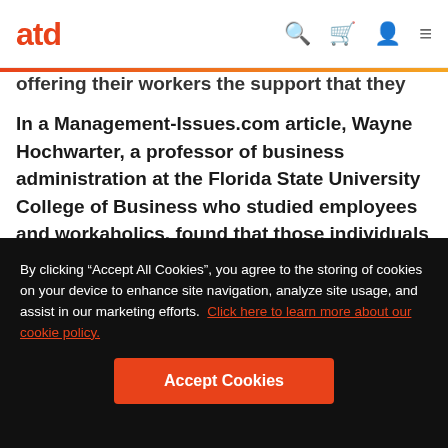atd
offering their workers the support that they need.
In a Management-Issues.com article, Wayne Hochwarter, a professor of business administration at the Florida State University College of Business who studied employees and workaholics, found that those individuals struggle
By clicking “Accept All Cookies”, you agree to the storing of cookies on your device to enhance site navigation, analyze site usage, and assist in our marketing efforts. Click here to learn more about our cookie policy.
Accept Cookies